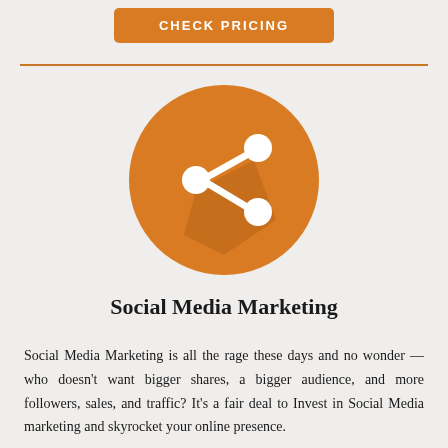[Figure (other): Orange rounded rectangle button with text CHECK PRICING in white bold uppercase letters]
[Figure (illustration): Orange circle icon with a white share/network symbol (three connected nodes) and a flat shadow effect inside the circle]
Social Media Marketing
Social Media Marketing is all the rage these days and no wonder — who doesn't want bigger shares, a bigger audience, and more followers, sales, and traffic? It's a fair deal to Invest in Social Media marketing and skyrocket your online presence.